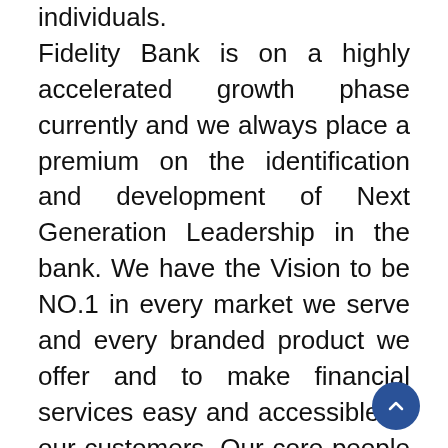individuals. Fidelity Bank is on a highly accelerated growth phase currently and we always place a premium on the identification and development of Next Generation Leadership in the bank. We have the Vision to be NO.1 in every market we serve and every branded product we offer and to make financial services easy and accessible to our customers. Our core people strategy remains one of creating a culture and environment where our staff are encouraged to imbibe the Bank's shared values which